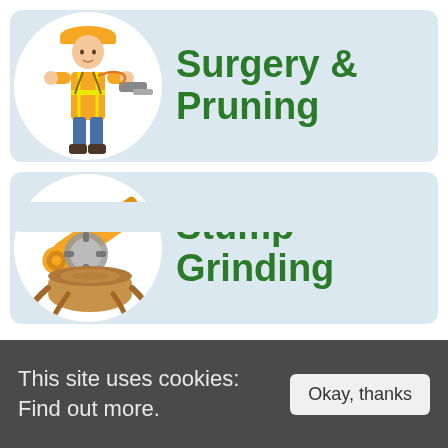[Figure (illustration): Service card with a tree surgeon/arborist worker illustration in a white circle on a light blue card background, with bold green text 'Surgery & Pruning']
[Figure (illustration): Service card with a chainsaw cutting a tree stump illustration in a white circle on a light blue card background, with bold green text 'Stump Grinding']
This site uses cookies: Find out more.
Okay, thanks